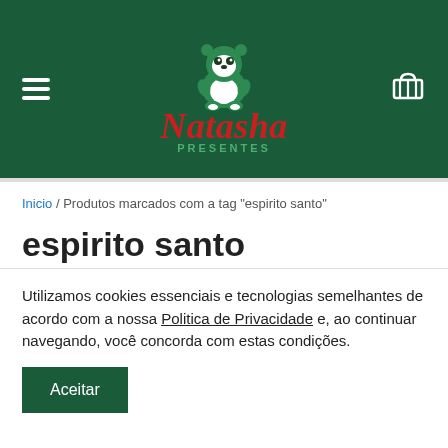[Figure (logo): Natasha Presentes logo: a green panda bear with white belly, red script 'Natasha' text, and 'PRESENTES' in green below, on dark green background]
Inicio / Produtos marcados com a tag "espirito santo"
espirito santo
Utilizamos cookies essenciais e tecnologias semelhantes de acordo com a nossa Politica de Privacidade e, ao continuar navegando, você concorda com estas condições.
Aceitar